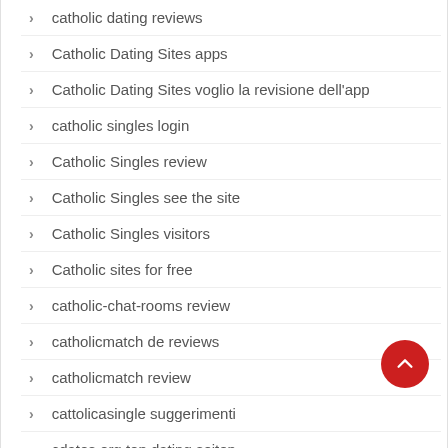catholic dating reviews
Catholic Dating Sites apps
Catholic Dating Sites voglio la revisione dell'app
catholic singles login
Catholic Singles review
Catholic Singles see the site
Catholic Singles visitors
Catholic sites for free
catholic-chat-rooms review
catholicmatch de reviews
catholicmatch review
cattolicasingle suggerimenti
cdates.org top dating seiten
cedar rapids escort index
Celibate Passions see the site